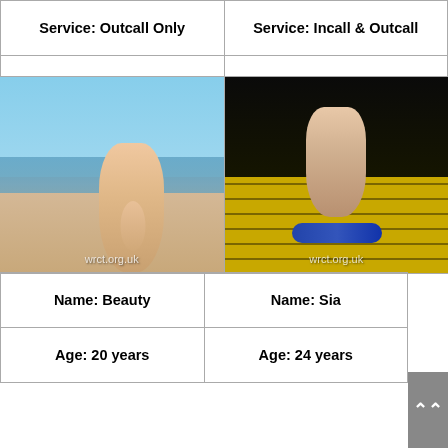| Left | Right |
| --- | --- |
| Service: Outcall Only | Service: Incall & Outcall |
| Price from: £120 | Price from: £90 |
[Figure (photo): Photo of a woman on a beach with watermark wrct.org.uk]
[Figure (photo): Photo of a woman on yellow steps with watermark wrct.org.uk]
| Left | Right |
| --- | --- |
| Name: Beauty | Name: Sia |
| Age: 20 years | Age: 24 years |